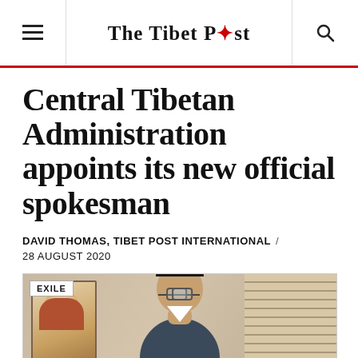The Tibet Post
Central Tibetan Administration appoints its new official spokesman
DAVID THOMAS, TIBET POST INTERNATIONAL / 28 AUGUST 2020
[Figure (photo): Portrait photo of a man wearing glasses, seated in an office with a painting of the Dalai Lama in the background, a flag on the left, and window blinds on the right. An 'EXILE' badge appears in the top-left corner of the photo.]